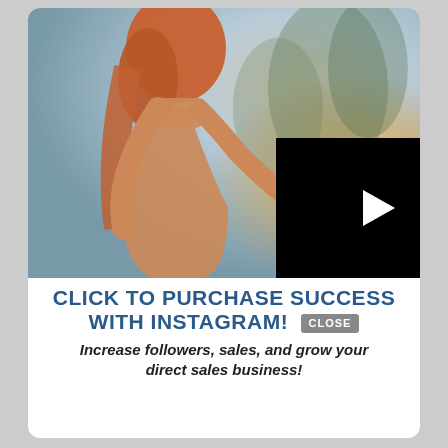[Figure (photo): Woman with red/orange hair, seen from behind, holding up a smartphone taking a photo outdoors with blurred natural background. A black video player overlay with a white play button triangle appears in the bottom-right of the image area. A circular close (X) button appears at the top-right of the video overlay.]
CLICK TO PURCHASE SUCCESS WITH INSTAGRAM!
Increase followers, sales, and grow your direct sales business!